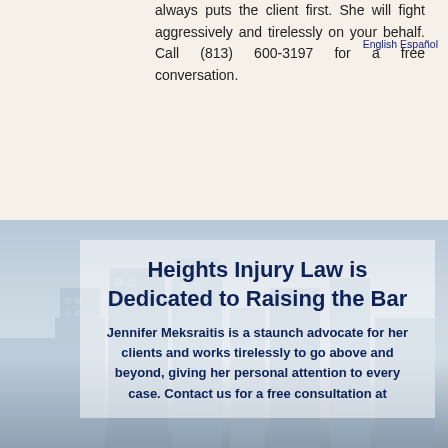always puts the client first. She will fight aggressively and tirelessly on your behalf. Call (813) 600-3197 for a free conversation.
English Español
[Figure (photo): City skyline background with tall buildings, blue sky with light clouds]
Heights Injury Law is Dedicated to Raising the Bar
Jennifer Meksraitis is a staunch advocate for her clients and works tirelessly to go above and beyond, giving her personal attention to every case. Contact us for a free consultation at